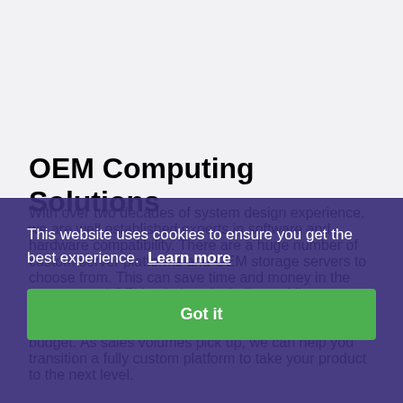OEM Computing Solutions
With over two decades of system design experience, we are well established experts in software and hardware compatibility. There are a huge number of custom server platforms and OEM storage servers to choose from. This can save time and money in the long run and OEM solutions including guiding your product through the development process, arriving at a solution that perfectly matches your needs and budget. As sales volumes pick up, we can help you transition a fully custom platform to take your product to the next level.
This website uses cookies to ensure you get the best experience. Learn more
Got it